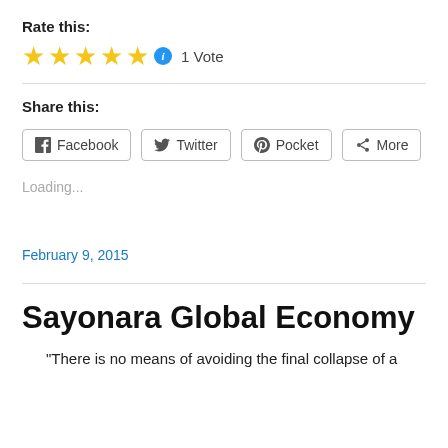Rate this:
[Figure (other): Five yellow stars with a blue info icon and '1 Vote' text]
Share this:
[Figure (other): Social share buttons: Facebook, Twitter, Pocket, More]
Loading...
February 9, 2015
Sayonara Global Economy
“There is no means of avoiding the final collapse of a